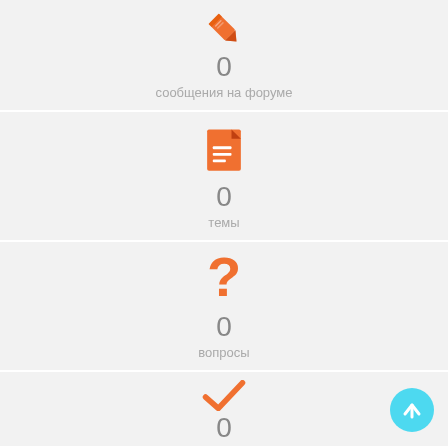[Figure (infographic): Orange pencil icon with number 0 and label сообщения на форуме]
[Figure (infographic): Orange document/file icon with number 0 and label темы]
[Figure (infographic): Orange question mark icon with number 0 and label вопросы]
[Figure (infographic): Orange checkmark icon with number 0 (partially visible), and a cyan back-to-top button]